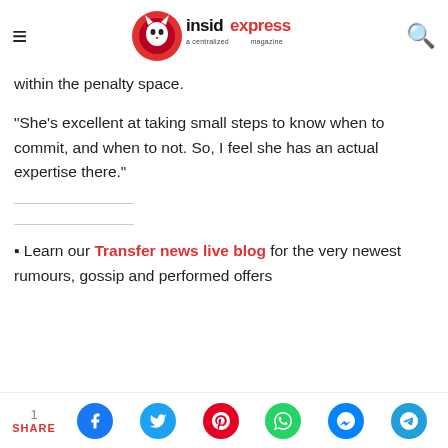insidexpress a centralized magazine
within the penalty space.
"She's excellent at taking small steps to know when to commit, and when to not. So, I feel she has an actual expertise there."
Learn our Transfer news live blog for the very newest rumours, gossip and performed offers
1 SHARE [social share icons: Facebook, Twitter, Pinterest, WhatsApp, Messenger, Telegram]